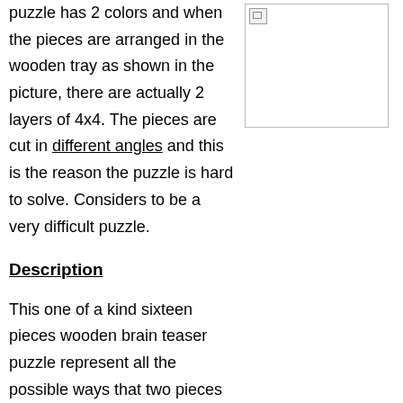puzzle has 2 colors and when the pieces are arranged in the wooden tray as shown in the picture, there are actually 2 layers of 4x4. The pieces are cut in different angles and this is the reason the puzzle is hard to solve. Considers to be a very difficult puzzle.
[Figure (photo): Image placeholder (broken image icon) showing a wooden puzzle]
Description
This one of a kind sixteen pieces wooden brain teaser puzzle represent all the possible ways that two pieces of 2 colors cut in different angels can be joined. The objective is to assemble the pieces into a two-layer, 4x4 checkerboards with the